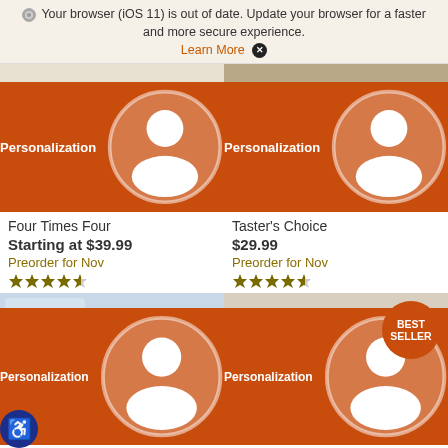Your browser (iOS 11) is out of date. Update your browser for a faster and more secure experience. Learn More ✕
[Figure (photo): Box of oranges and pears arranged on green paper in a decorative box with Personalization label]
Four Times Four
Starting at $39.99
Preorder for Nov
★★★★½
[Figure (photo): Box of navel oranges with cut orange slices on a table with Personalization label]
Taster's Choice
$29.99
Preorder for Nov
★★★★½
[Figure (photo): Box of navel oranges with decorative box and Personalization label]
[Figure (photo): Bouquet of tangerines with Best Seller badge and Personalization label]